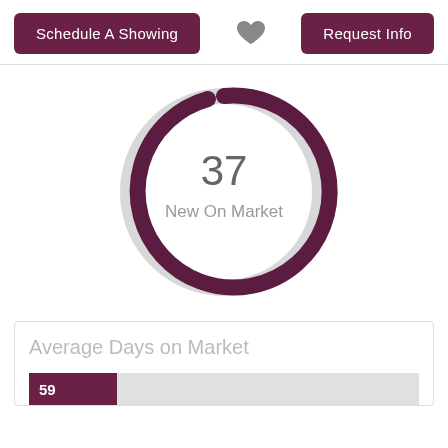Schedule A Showing  [heart]  Request Info
[Figure (donut-chart): Donut/ring chart showing 37 New On Market, roughly 75% filled in dark purple, rest in light gray]
Average Days on Market
[Figure (bar-chart): Horizontal bar with dark purple filled portion labeled 59, rest gray]